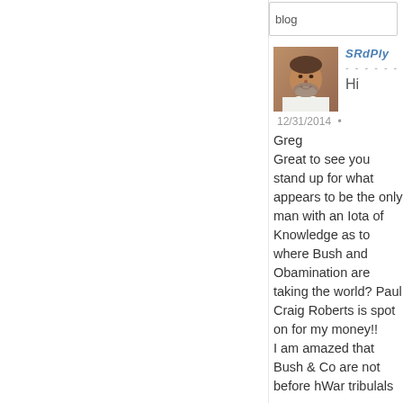blog
[Figure (photo): Portrait photo of a middle-aged man with gray beard wearing a white shirt, smiling]
SRdPly
Hi
12/31/2014 •
Greg
Great to see you stand up for what appears to be the only man with an Iota of Knowledge as to where Bush and Obamination are taking the world? Paul Craig Roberts is spot on for my money!!
I am amazed that Bush & Co are not before hWar tribulals